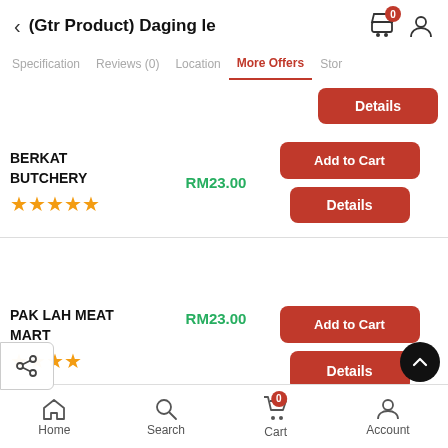(Gtr Product) Daging le
Specification | Reviews (0) | Location | More Offers | Stor
| Store | Price | Actions |
| --- | --- | --- |
| BERKAT BUTCHERY ★★★★★ | RM23.00 | Add to Cart / Details |
| PAK LAH MEAT MART ★★★★ | RM23.00 | Add to Cart / Details |
Home | Search | Cart (0) | Account